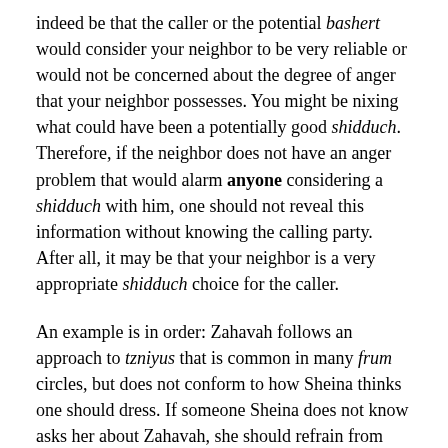indeed be that the caller or the potential bashert would consider your neighbor to be very reliable or would not be concerned about the degree of anger that your neighbor possesses. You might be nixing what could have been a potentially good shidduch. Therefore, if the neighbor does not have an anger problem that would alarm anyone considering a shidduch with him, one should not reveal this information without knowing the calling party. After all, it may be that your neighbor is a very appropriate shidduch choice for the caller.
An example is in order: Zahavah follows an approach to tzniyus that is common in many frum circles, but does not conform to how Sheina thinks one should dress. If someone Sheina does not know asks her about Zahavah, she should refrain from commenting on Zahavah's mode of dress. If the caller asks her directly whether Zahavah dresses